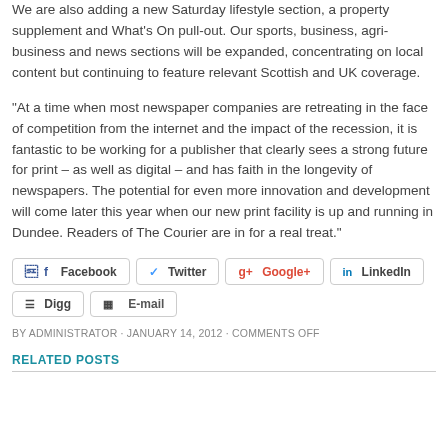We are also adding a new Saturday lifestyle section, a property supplement and What's On pull-out. Our sports, business, agri-business and news sections will be expanded, concentrating on local content but continuing to feature relevant Scottish and UK coverage.
“At a time when most newspaper companies are retreating in the face of competition from the internet and the impact of the recession, it is fantastic to be working for a publisher that clearly sees a strong future for print – as well as digital – and has faith in the longevity of newspapers. The potential for even more innovation and development will come later this year when our new print facility is up and running in Dundee. Readers of The Courier are in for a real treat.”
[Figure (infographic): Social sharing buttons: Facebook, Twitter, Google+, LinkedIn, Digg, E-mail]
BY ADMINISTRATOR · JANUARY 14, 2012 · COMMENTS OFF
RELATED POSTS